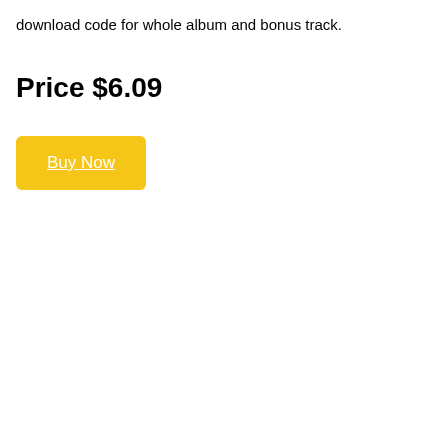download code for whole album and bonus track.
Price $6.09
[Figure (other): Yellow 'Buy Now' button with white underlined text on golden-yellow rounded rectangle background]